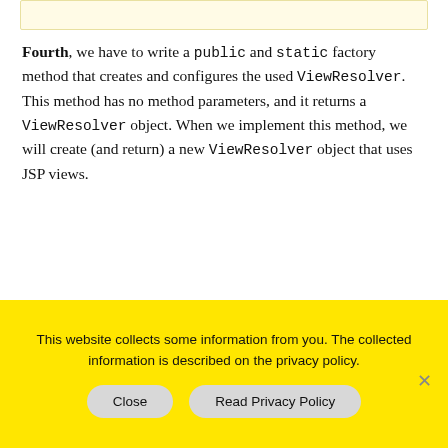Fourth, we have to write a public and static factory method that creates and configures the used ViewResolver. This method has no method parameters, and it returns a ViewResolver object. When we implement this method, we will create (and return) a new ViewResolver object that uses JSP views.
After we have written our factory method, the source code of our object mother class looks as
This website collects some information from you. The collected information is described on the privacy policy.